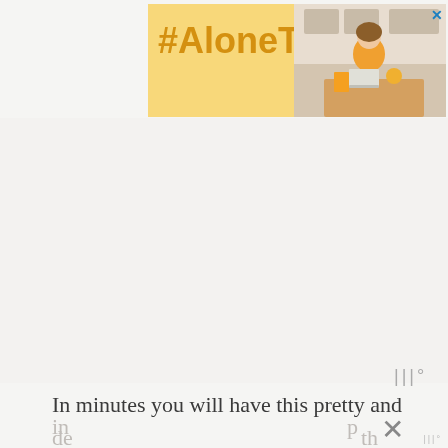[Figure (screenshot): Advertisement banner with yellow background showing #AloneTogether hashtag in bold orange text, with a photo of a woman on the right side and a close X button]
In minutes you will have this pretty and
de
in